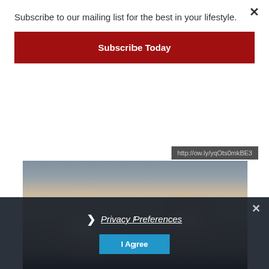Subscribe to our mailing list for the best in your lifestyle.
Subscribe Today
http://ow.ly/yqOts0mkBE3
[Figure (photo): Mirror selfie photo showing two people from above, faces partially visible, taken at an angle in a bathroom or indoor setting.]
Privacy Preferences
I Agree